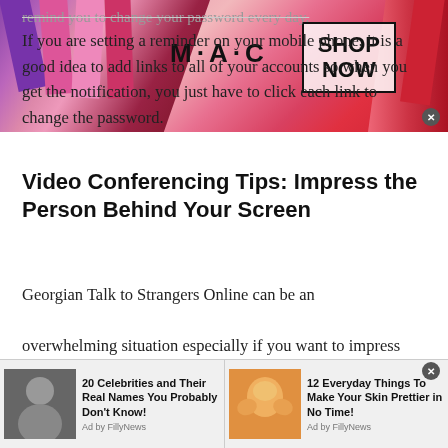[Figure (illustration): MAC cosmetics advertisement banner with colorful lipsticks on the left and right, MAC logo in center, SHOP NOW button in a black-bordered box, and a close (x) button]
remind you to change your password every day.
If you are setting a reminder on your mobile phone, it is a good idea to add links to all of your accounts so when you get the notification, you just have to click each link to change the password.
Video Conferencing Tips: Impress the Person Behind Your Screen
Georgian Talk to Strangers Online can be an overwhelming situation especially if you want to impress
[Figure (illustration): Bottom advertisement bar with two ad items: '20 Celebrities and Their Real Names You Probably Don't Know! Ad by FillyNews' with a photo of a celebrity, and '12 Everyday Things To Make Your Skin Prettier in No Time! Ad by FillyNews' with a photo of a person applying a face mask]